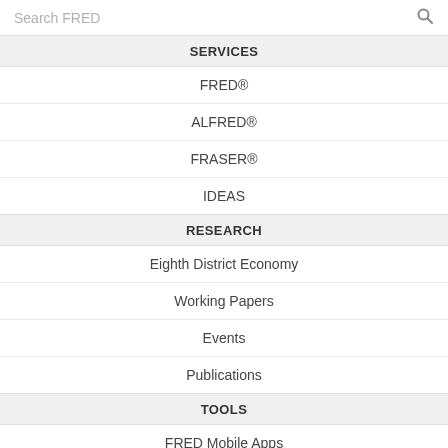Search FRED
SERVICES
FRED®
ALFRED®
FRASER®
IDEAS
RESEARCH
Eighth District Economy
Working Papers
Events
Publications
TOOLS
FRED Mobile Apps
FRED Add-In for Excel®
Filter 2